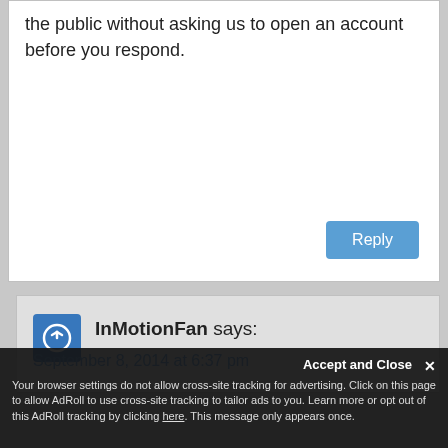the public without asking us to open an account before you respond.
Reply
InMotionFan says:
September 8, 2014 at 6:37 pm
Thank you for the kind words Tony, we want everyone to feel comfortable asking questions. We don't have all the answers, but we try to point you in the right direction if we do not know. If there are situations there an error message or particular behavior you
Accept and Close
Your browser settings do not allow cross-site tracking for advertising. Click on this page to allow AdRoll to use cross-site tracking to tailor ads to you. Learn more or opt out of this AdRoll tracking by clicking here. This message only appears once.